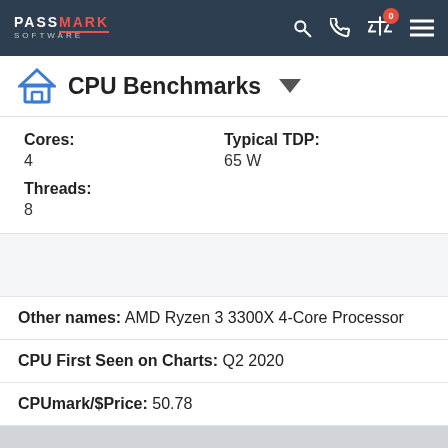PassMark Software — CPU Benchmarks navigation bar
CPU Benchmarks
Cores: 4
Typical TDP: 65 W
Threads: 8
Other names: AMD Ryzen 3 3300X 4-Core Processor
CPU First Seen on Charts: Q2 2020
CPUmark/$Price: 50.78